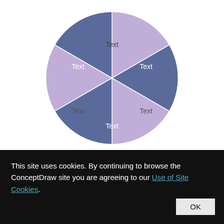[Figure (pie-chart): A pie chart divided into 6 equal segments alternating between dark blue-purple (#5a6a9a) and light purple (#b8a8cc), each labeled 'Text'.]
This site uses cookies. By continuing to browse the ConceptDraw site you are agreeing to our Use of Site Cookies. OK